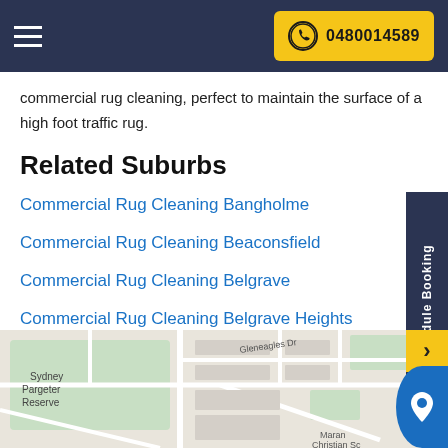0480014589
commercial rug cleaning, perfect to maintain the surface of a high foot traffic rug.
Related Suburbs
Commercial Rug Cleaning Bangholme
Commercial Rug Cleaning Beaconsfield
Commercial Rug Cleaning Belgrave
Commercial Rug Cleaning Belgrave Heights
[Figure (map): Street map showing Sydney Pargeter Reserve, Gleneagles Dr, and Maran Christian Sc area]